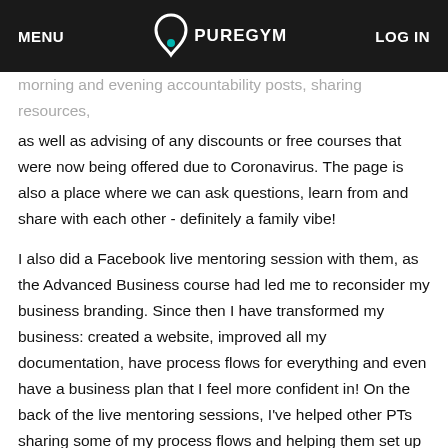MENU | PUREGYM | LOG IN
morning and evening accountability posts, sharing resources, as well as advising of any discounts or free courses that were now being offered due to Coronavirus. The page is also a place where we can ask questions, learn from and share with each other - definitely a family vibe!

I also did a Facebook live mentoring session with them, as the Advanced Business course had led me to reconsider my business branding. Since then I have transformed my business: created a website, improved all my documentation, have process flows for everything and even have a business plan that I feel more confident in! On the back of the live mentoring sessions, I've helped other PTs sharing some of my process flows and helping them set up documents online.